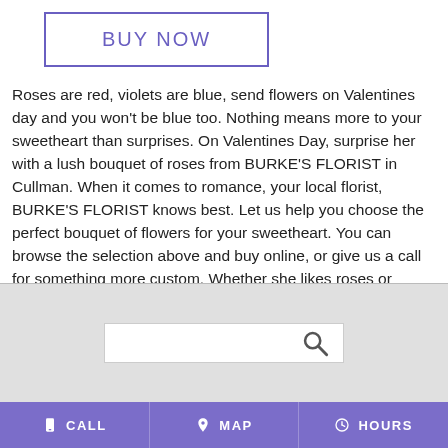[Figure (other): BUY NOW button with purple border]
Roses are red, violets are blue, send flowers on Valentines day and you won't be blue too. Nothing means more to your sweetheart than surprises. On Valentines Day, surprise her with a lush bouquet of roses from BURKE'S FLORIST in Cullman. When it comes to romance, your local florist, BURKE'S FLORIST knows best. Let us help you choose the perfect bouquet of flowers for your sweetheart. You can browse the selection above and buy online, or give us a call for something more custom. Whether she likes roses or Gerberas, red or purple, we can create something one-of-a-kind this Valentines Day.
[Figure (other): Search bar with magnifying glass icon on gray background]
CALL   MAP   HOURS